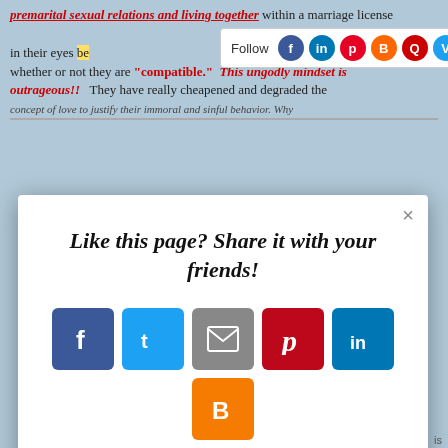premarital sexual relations and living together within a marriage license... in their eyes because they are testing whether or not they are "compatible." This ungodly mindset is outrageous!! They have really cheapened and degraded the concept of love to justify their immoral and sinful behavior. Why...
[Figure (screenshot): Follow bar with social media icons: Facebook, LinkedIn, Pinterest, Blogger, Quora, Vimeo, Twitter, Instagram]
[Figure (screenshot): Share modal popup with title 'Like this page? Share it with your friends!' and social sharing buttons: Facebook (blue), Twitter (light blue), Email (gray), Pinterest (red), LinkedIn (blue), Blogger (orange), and a plus button (coral/red-orange). AddThis branding at bottom right.]